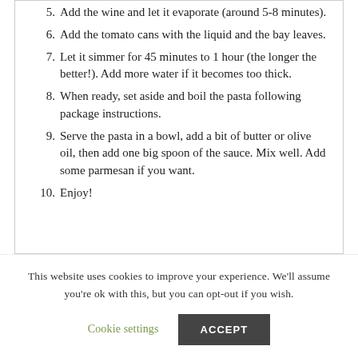5. Add the wine and let it evaporate (around 5-8 minutes).
6. Add the tomato cans with the liquid and the bay leaves.
7. Let it simmer for 45 minutes to 1 hour (the longer the better!). Add more water if it becomes too thick.
8. When ready, set aside and boil the pasta following package instructions.
9. Serve the pasta in a bowl, add a bit of butter or olive oil, then add one big spoon of the sauce. Mix well. Add some parmesan if you want.
10. Enjoy!
This website uses cookies to improve your experience. We'll assume you're ok with this, but you can opt-out if you wish.